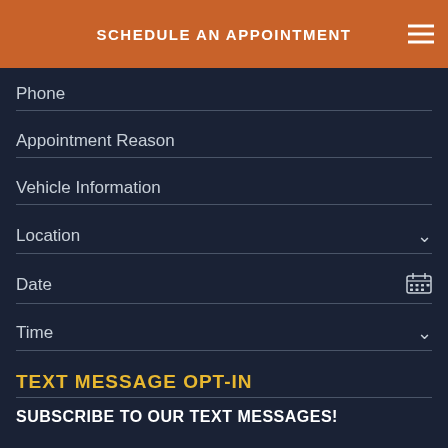SCHEDULE AN APPOINTMENT
Phone
Appointment Reason
Vehicle Information
Location
Date
Time
TEXT MESSAGE OPT-IN
SUBSCRIBE TO OUR TEXT MESSAGES!